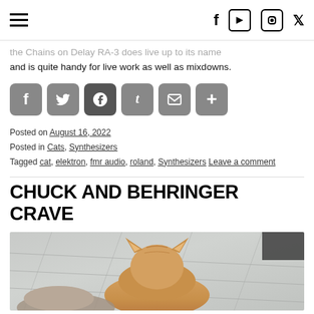Navigation header with hamburger menu and social icons: Facebook, YouTube, Instagram, Twitter
...the Chains on Delay RA-3 does live up to its name and is quite handy for live work as well as mixdowns.
[Figure (infographic): Social share buttons: Facebook, Twitter, Pinterest, Tumblr, Email, More]
Posted on August 16, 2022
Posted in Cats, Synthesizers
Tagged cat, elektron, fmr audio, roland, Synthesizers Leave a comment
CHUCK AND BEHRINGER CRAVE
[Figure (photo): Photo of an orange/tabby cat viewed from behind, sitting on a patterned rug]